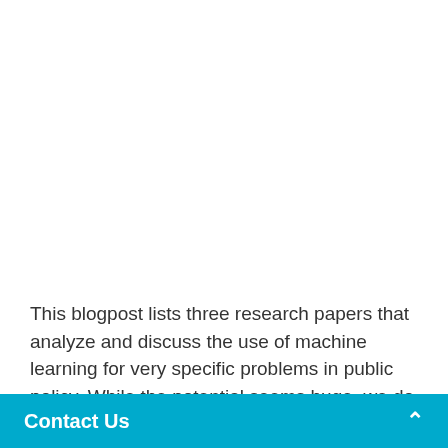This blogpost lists three research papers that analyze and discuss the use of machine learning for very specific problems in public policy. While the potential seems huge, we do not want to neglect some of the many potential p[roblems]
Business a[nalysis...]
Contact Us